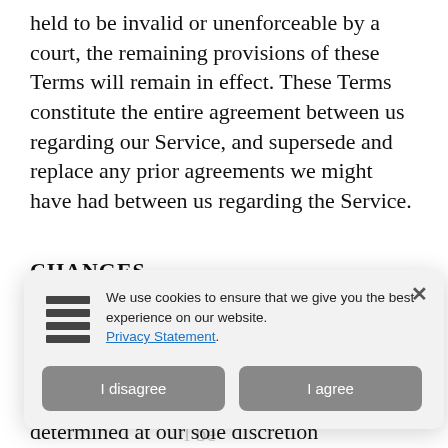held to be invalid or unenforceable by a court, the remaining provisions of these Terms will remain in effect. These Terms constitute the entire agreement between us regarding our Service, and supersede and replace any prior agreements we might have had between us regarding the Service.
CHANGES
[obscured by cookie modal] ...tion, to ...me. If a ...ast 30 ...ing effect. ...l be determined at our sole discretion
[Figure (screenshot): Cookie consent modal overlay with hamburger/list icon on the left, text 'We use cookies to ensure that we give you the best experience on our website. Privacy Statement.' with a close X button in the top right, and two buttons at the bottom: 'I disagree' and 'I agree'.]